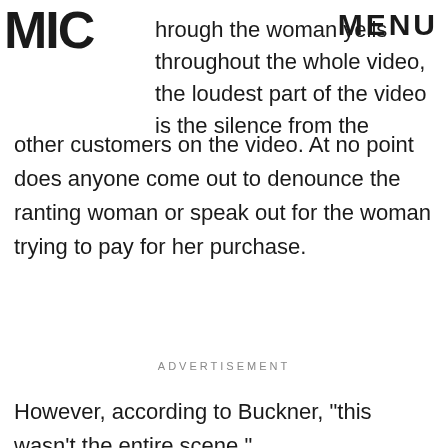MIC | MENU
hrough the woman yells throughout the whole video, the loudest part of the video is the silence from the other customers on the video. At no point does anyone come out to denounce the ranting woman or speak out for the woman trying to pay for her purchase.
ADVERTISEMENT
However, according to Buckner, "this wasn't the entire scene."